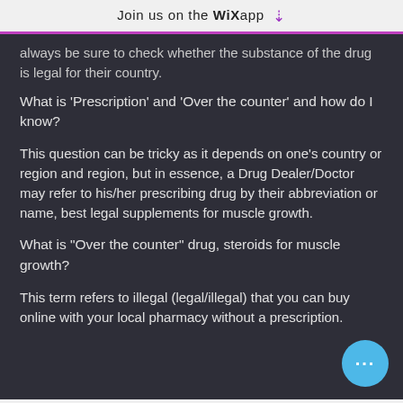Join us on the WiX app ↓
always be sure to check whether the substance of the drug is legal for their country.
What is 'Prescription' and 'Over the counter' and how do I know?
This question can be tricky as it depends on one's country or region and region, but in essence, a Drug Dealer/Doctor may refer to his/her prescribing drug by their abbreviation or name, best legal supplements for muscle growth.
What is "Over the counter" drug, steroids for muscle growth?
This term refers to illegal (legal/illegal) that you can buy online with your local pharmacy without a prescription.